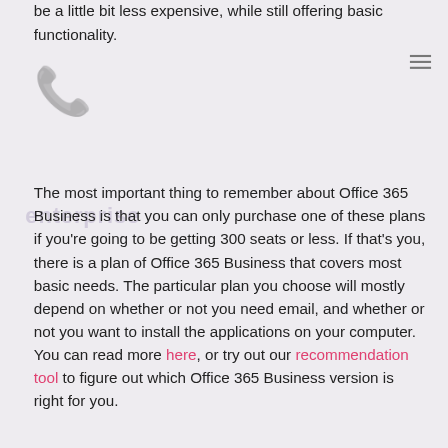You might be attracted to these plans because they tend to be a little bit less expensive, while still offering basic functionality.
The most important thing to remember about Office 365 Business is that you can only purchase one of these plans if you're going to be getting 300 seats or less. If that's you, there is a plan of Office 365 Business that covers most basic needs. The particular plan you choose will mostly depend on whether or not you need email, and whether or not you want to install the applications on your computer. You can read more here, or try out our recommendation tool to figure out which Office 365 Business version is right for you.
Office 365 Enterprise Versions
There are also three versions of Office 365 for enterprise companies. These plans tend to be a little more expensive, but they do offer some additional functionality.